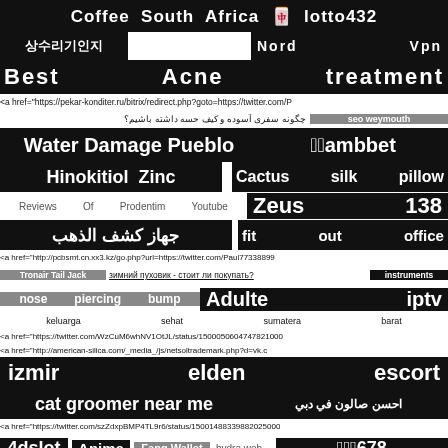Coffee South Africa 테스트 lotto432
나무위키 Nord Vpn
Best Acne treatment
<a href="https://pekar-konditer.ru/bitrix/redirect.php?goto=https://twitter.com/P
چگونه سفری آسوده و کیف حسه داشته باشیم؟ seo weymouth
Water Damage Pueblo แทงambbet
Hinokitiol Zinc Cactus silk pillow
Reviews Of Prodentim Youtube Zeus 138
جهاز كشف الذهب fit out office
<a href="http://pcbsmt.cn.xx3.kz/go.php?url=https://twitter.com/Paul77338899
Tronair Tail Jack зимний пуховик - стоит ли покупать? instruments
nose piercing bump Adulte iptv
keluarga sehat sumatera barat
<a href="https://twitter.com/WzCuM6whNV1OtJL/status/150005060474782100
<a href="http://american-silica.com/_media_/js/netsoltrademark.php?d=vk.c
izmir elden escort
cat groomer near me احسن صالون في دبي
<a href="https://twitter.com/szZdxpBMP4TL9r6/status/150014883398820250
4dslot Anime Fang Wallet hydra web สมัคร678
investment